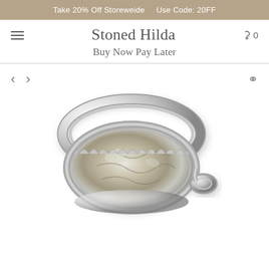Take 20% Off Storeweide   Use Code: 20FF
Stoned Hilda
Buy Now Pay Later
[Figure (photo): Silver jewelry pendant with a rough crystal/stone set in a decorative silver bezel setting, shown from the back. The pendant has a polished silver oval frame with scalloped prong detail and a bale at the right side.]